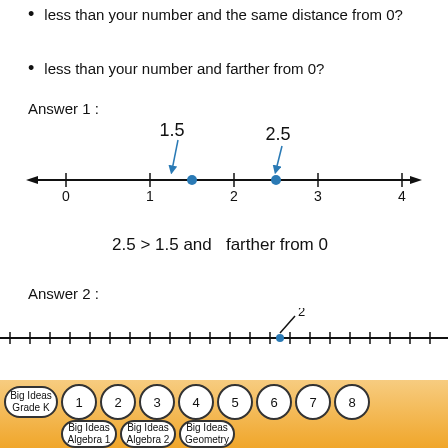less than your number and the same distance from 0?
less than your number and farther from 0?
Answer 1 :
[Figure (other): Number line from 0 to 4 with points at 1.5 and 2.5, labeled with arrows pointing down to the points.]
2.5 > 1.5 and  farther from 0
Answer 2 :
[Figure (other): Partial number line at bottom of page with a point near 2.]
Big Ideas Grade K  1  2  3  4  5  6  7  8  Big Ideas Algebra 1  Big Ideas Algebra 2  Big Ideas Geometry